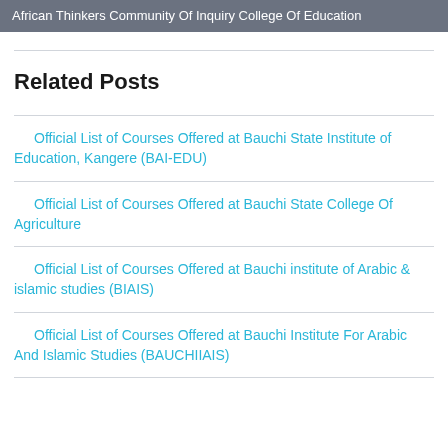African Thinkers Community Of Inquiry College Of Education
Related Posts
Official List of Courses Offered at Bauchi State Institute of Education, Kangere (BAI-EDU)
Official List of Courses Offered at Bauchi State College Of Agriculture
Official List of Courses Offered at Bauchi institute of Arabic & islamic studies (BIAIS)
Official List of Courses Offered at Bauchi Institute For Arabic And Islamic Studies (BAUCHIIAIS)